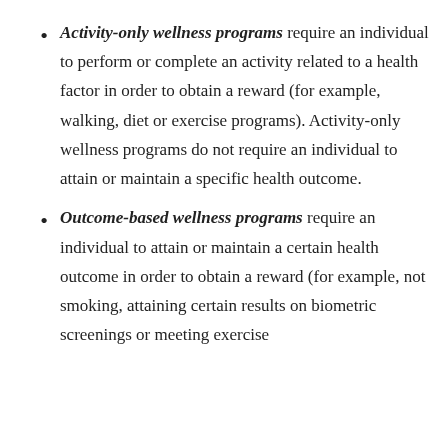Activity-only wellness programs require an individual to perform or complete an activity related to a health factor in order to obtain a reward (for example, walking, diet or exercise programs). Activity-only wellness programs do not require an individual to attain or maintain a specific health outcome.
Outcome-based wellness programs require an individual to attain or maintain a certain health outcome in order to obtain a reward (for example, not smoking, attaining certain results on biometric screenings or meeting exercise targets). Generally, these programs have a...